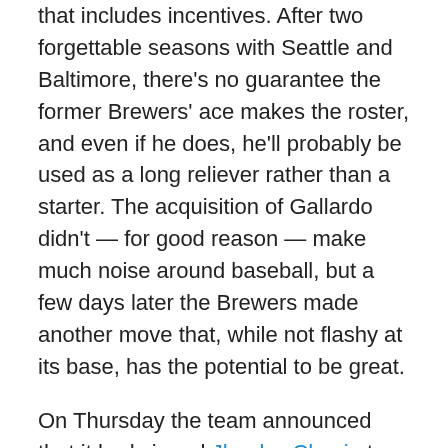that includes incentives. After two forgettable seasons with Seattle and Baltimore, there’s no guarantee the former Brewers’ ace makes the roster, and even if he does, he’ll probably be used as a long reliever rather than a starter. The acquisition of Gallardo didn’t — for good reason — make much noise around baseball, but a few days later the Brewers made another move that, while not flashy at its base, has the potential to be great.
On Thursday the team announced that it had signed Jhoulys Chacin to a frontloaded two-year contract worth $15.5 million that includes a $1.5 million signing bonus. At face value, Chacin seems like a league-average pitcher. In 2017 he posted a 3.89 ERA and a 4.26 FIP on his way to a 2.3 WAR over 32 starts. His career numbers aren’t nearly as positive, but he provided optimism with the Padres last year. His slider is considered one of the best in the game.